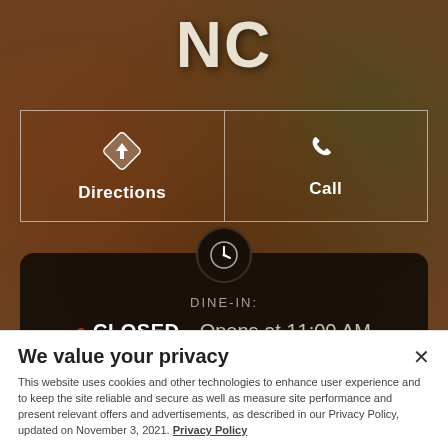NC
[Figure (infographic): Two-button bar with Directions and Call buttons over food background image]
DINE-IN:
• CLOSED - Opens at 11:00 AM
We value your privacy
This website uses cookies and other technologies to enhance user experience and to keep the site reliable and secure as well as measure site performance and present relevant offers and advertisements, as described in our Privacy Policy, updated on November 3, 2021. Privacy Policy